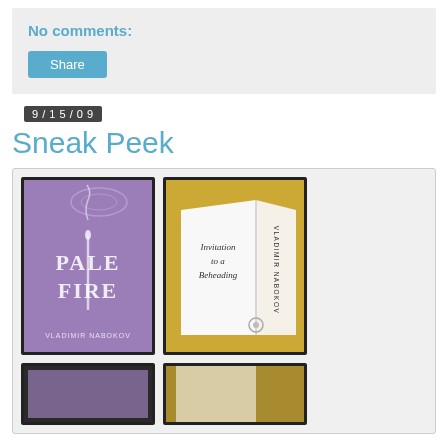No comments:
Share
9/15/09
Sneak Peek
[Figure (photo): Two framed book covers side by side: left is 'Pale Fire' by Vladimir Nabokov with a purple background and smoke/candle design; right is 'Invitation to a Beheading' by Vladimir Nabokov with a gold and white open book design. Below are two partially visible book covers.]